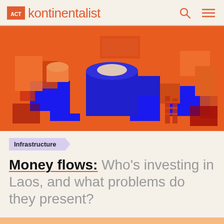kontinentalist
[Figure (illustration): Abstract 3D rendered illustration with orange and blue geometric shapes, resembling an isometric cityscape or interior with checkered floor patterns in deep blue and orange tones.]
Infrastructure
Money flows: Who's investing in Laos, and what problems do they present?